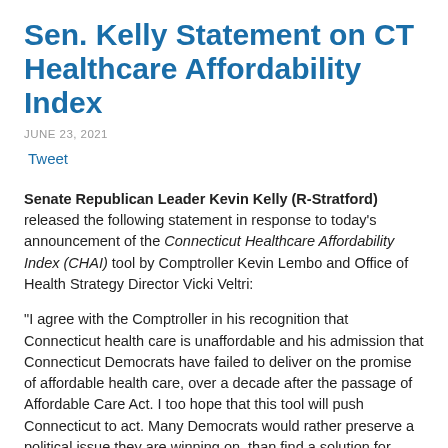Sen. Kelly Statement on CT Healthcare Affordability Index
JUNE 23, 2021
Tweet
Senate Republican Leader Kevin Kevin Kelly (R-Stratford) released the following statement in response to today's announcement of the Connecticut Healthcare Affordability Index (CHAI) tool by Comptroller Kevin Lembo and Office of Health Strategy Director Vicki Veltri:
“I agree with the Comptroller in his recognition that Connecticut health care is unaffordable and his admission that Connecticut Democrats have failed to deliver on the promise of affordable health care, over a decade after the passage of Affordable Care Act. I too hope that this tool will push Connecticut to act. Many Democrats would rather preserve a political issue they are winning on, than find a solution for Connecticut families. While Republicans pushed for a comprehensive package of reforms